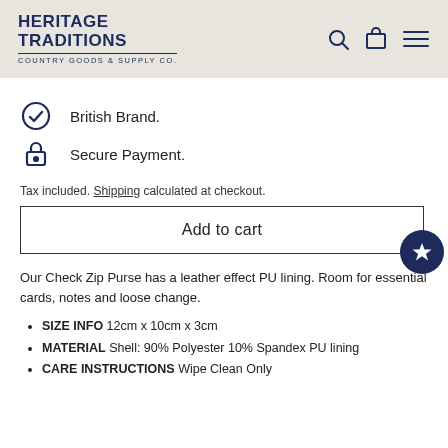HERITAGE TRADITIONS COUNTRY GOODS & SUPPLY Co.
British Brand.
Secure Payment.
Tax included. Shipping calculated at checkout.
Add to cart
Our Check Zip Purse has a leather effect PU lining. Room for essential cards, notes and loose change.
SIZE INFO 12cm x 10cm x 3cm
MATERIAL Shell: 90% Polyester 10% Spandex PU lining
CARE INSTRUCTIONS Wipe Clean Only